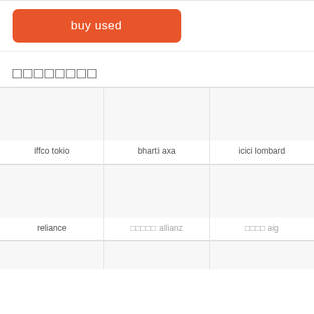[Figure (other): Orange rounded button labeled 'buy used']
□□□□□□□□
[Figure (other): Grid of insurance company logos: iffco tokio, bharti axa, icici lombard, reliance, □□□□□ allianz, □□□□ aig, and three more partial cells]